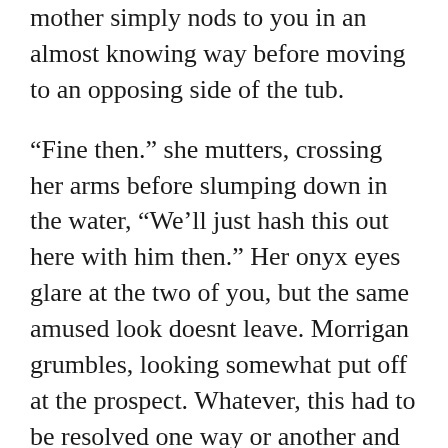mother simply nods to you in an almost knowing way before moving to an opposing side of the tub.
“Fine then.” she mutters, crossing her arms before slumping down in the water, “We’ll just hash this out here with him then.” Her onyx eyes glare at the two of you, but the same amused look doesnt leave. Morrigan grumbles, looking somewhat put off at the prospect. Whatever, this had to be resolved one way or another and the awkwardness of it all had to end, if that meant being stuck listening in on a lecture you were resigned to it.
Reaching out you grabbed at Morrigan, earning a yelp, as you moved and brought her down with you into the tub. Gently situating her on your lap, partially to